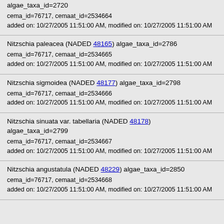algae_taxa_id=2720
cema_id=76717, cemaat_id=2534664
added on: 10/27/2005 11:51:00 AM, modified on: 10/27/2005 11:51:00 AM
Nitzschia paleacea (NADED 48165) algae_taxa_id=2786
cema_id=76717, cemaat_id=2534665
added on: 10/27/2005 11:51:00 AM, modified on: 10/27/2005 11:51:00 AM
Nitzschia sigmoidea (NADED 48177) algae_taxa_id=2798
cema_id=76717, cemaat_id=2534666
added on: 10/27/2005 11:51:00 AM, modified on: 10/27/2005 11:51:00 AM
Nitzschia sinuata var. tabellaria (NADED 48178) algae_taxa_id=2799
cema_id=76717, cemaat_id=2534667
added on: 10/27/2005 11:51:00 AM, modified on: 10/27/2005 11:51:00 AM
Nitzschia angustatula (NADED 48229) algae_taxa_id=2850
cema_id=76717, cemaat_id=2534668
added on: 10/27/2005 11:51:00 AM, modified on: 10/27/2005 11:51:00 AM